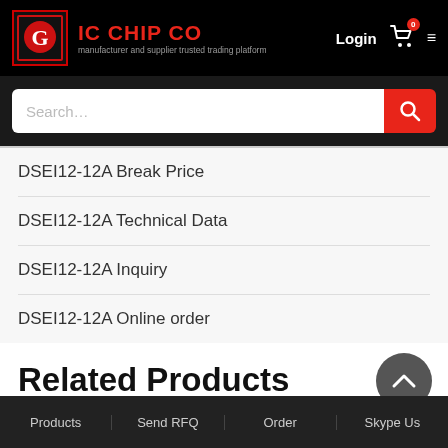[Figure (logo): IC Chip Co logo with red border, eagle graphic and company name in red on black background]
Search...
DSEI12-12A Break Price
DSEI12-12A Technical Data
DSEI12-12A Inquiry
DSEI12-12A Online order
Related Products
Products   Send RFQ   Order   Skype Us